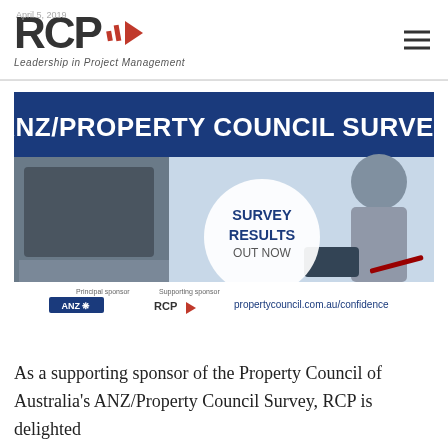RCP | Leadership in Project Management
[Figure (photo): ANZ/Property Council Survey banner advertisement showing laptop and office background with text 'SURVEY RESULTS OUT NOW', ANZ as principal sponsor, RCP as supporting sponsor, and website propertycouncil.com.au/confidence]
As a supporting sponsor of the Property Council of Australia's ANZ/Property Council Survey, RCP is delighted